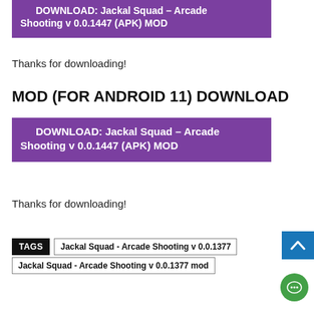[Figure (screenshot): Purple download button partially cut at top: DOWNLOAD: Jackal Squad – Arcade Shooting v 0.0.1447 (APK) MOD]
Thanks for downloading!
MOD (FOR ANDROID 11) DOWNLOAD
[Figure (screenshot): Purple download button: DOWNLOAD: Jackal Squad – Arcade Shooting v 0.0.1447 (APK) MOD]
Thanks for downloading!
TAGS  Jackal Squad - Arcade Shooting v 0.0.1377  Jackal Squad - Arcade Shooting v 0.0.1377 mod